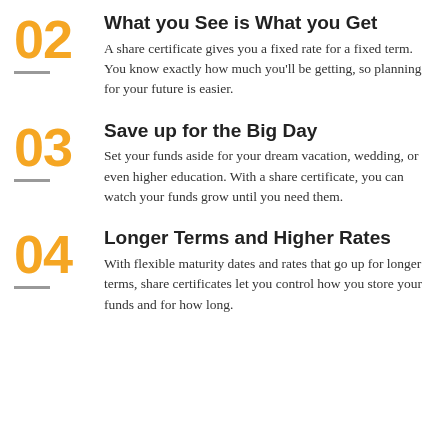02 What you See is What you Get
A share certificate gives you a fixed rate for a fixed term. You know exactly how much you'll be getting, so planning for your future is easier.
03 Save up for the Big Day
Set your funds aside for your dream vacation, wedding, or even higher education. With a share certificate, you can watch your funds grow until you need them.
04 Longer Terms and Higher Rates
With flexible maturity dates and rates that go up for longer terms, share certificates let you control how you store your funds and for how long.